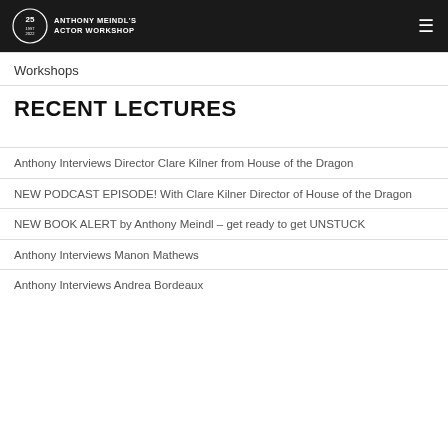ANTHONY MEINDL'S ACTOR WORKSHOP
Workshops
RECENT LECTURES
Anthony Interviews Director Clare Kilner from House of the Dragon
NEW PODCAST EPISODE! With Clare Kilner Director of House of the Dragon
NEW BOOK ALERT by Anthony Meindl – get ready to get UNSTUCK
Anthony Interviews Manon Mathews
Anthony Interviews Andrea Bordeaux